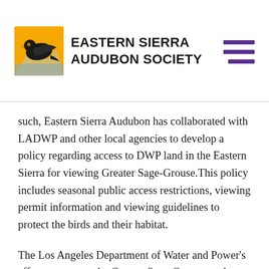[Figure (logo): Eastern Sierra Audubon Society logo with a bird silhouette and mountain/sun background in yellow and dark colors, with text 'Eastern Sierra Audubon Society' in bold uppercase sans-serif]
such, Eastern Sierra Audubon has collaborated with LADWP and other local agencies to develop a policy regarding access to DWP land in the Eastern Sierra for viewing Greater Sage-Grouse.This policy includes seasonal public access restrictions, viewing permit information and viewing guidelines to protect the birds and their habitat.
The Los Angeles Department of Water and Power's efforts to protect the Greater Sage-Grouse, and therefore the development of this policy, have been supported by a multi-party collaboration that has